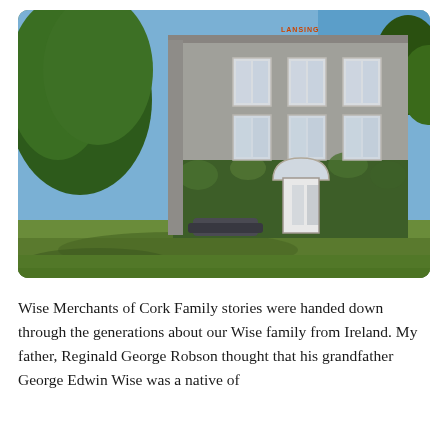[Figure (photo): Exterior photograph of a large Georgian-style stone house with ivy-covered lower facade, white-framed sash windows, a fanlight front door, surrounded by trees with green lawn in foreground and blue sky above.]
Wise Merchants of Cork Family stories were handed down through the generations about our Wise family from Ireland. My father, Reginald George Robson thought that his grandfather George Edwin Wise was a native of